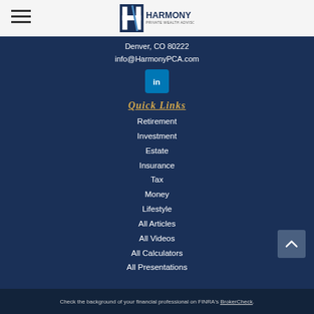[Figure (logo): Harmony Private Wealth Advisors logo with stylized H icon]
Denver, CO 80222
info@HarmonyPCA.com
[Figure (other): LinkedIn social media icon button]
Quick Links
Retirement
Investment
Estate
Insurance
Tax
Money
Lifestyle
All Articles
All Videos
All Calculators
All Presentations
Check the background of your financial professional on FINRA's BrokerCheck.